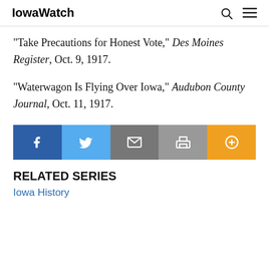IowaWatch
“Take Precautions for Honest Vote,” Des Moines Register, Oct. 9, 1917.
“Waterwagon Is Flying Over Iowa,” Audubon County Journal, Oct. 11, 1917.
[Figure (other): Social share bar with Facebook, Twitter, Email, Print, and More buttons]
RELATED SERIES
Iowa History